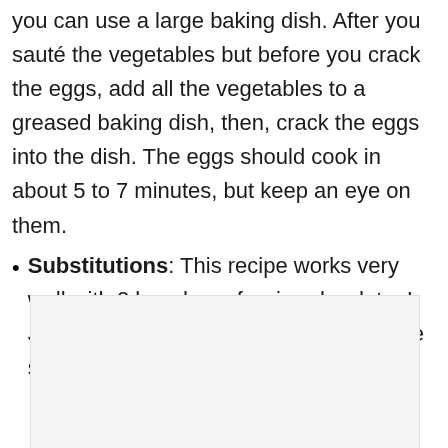you can use a large baking dish. After you sauté the vegetables but before you crack the eggs, add all the vegetables to a greased baking dish, then, crack the eggs into the dish. The eggs should cook in about 5 to 7 minutes, but keep an eye on them.
Substitutions: This recipe works very well with 2 bunches of swiss chard, too! Just slice the leaves into ribbons and the stems into 1/4-inch slices.
[Figure (photo): Image placeholder area, light gray background]